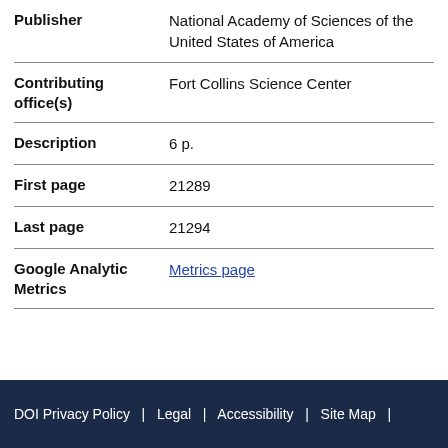| Field | Value |
| --- | --- |
| Publisher | National Academy of Sciences of the United States of America |
| Contributing office(s) | Fort Collins Science Center |
| Description | 6 p. |
| First page | 21289 |
| Last page | 21294 |
| Google Analytic Metrics | Metrics page |
DOI Privacy Policy  |  Legal  |  Accessibility  |  Site Map  |